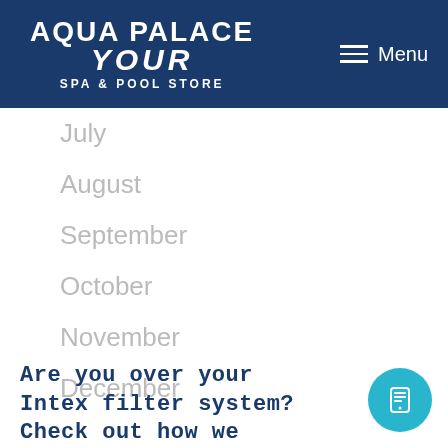Aqua Palace Your Spa & Pool Store — Menu
July
August
September
October
November
December
Are you over your Intex filter system? Check out how we